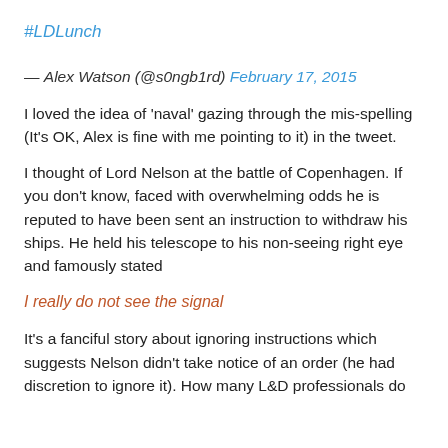#LDLunch
— Alex Watson (@s0ngb1rd) February 17, 2015
I loved the idea of 'naval' gazing through the mis-spelling (It's OK, Alex is fine with me pointing to it) in the tweet.
I thought of Lord Nelson at the battle of Copenhagen. If you don't know, faced with overwhelming odds he is reputed to have been sent an instruction to withdraw his ships. He held his telescope to his non-seeing right eye and famously stated
I really do not see the signal
It's a fanciful story about ignoring instructions which suggests Nelson didn't take notice of an order (he had discretion to ignore it). How many L&D professionals do